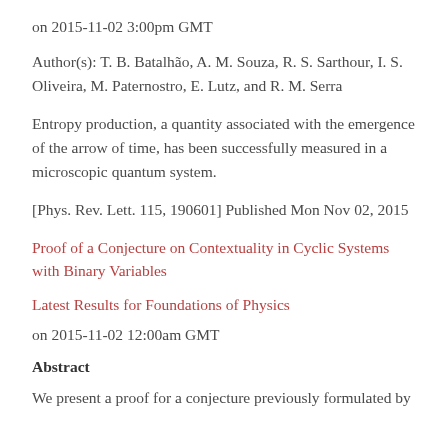on 2015-11-02 3:00pm GMT
Author(s): T. B. Batalhão, A. M. Souza, R. S. Sarthour, I. S. Oliveira, M. Paternostro, E. Lutz, and R. M. Serra
Entropy production, a quantity associated with the emergence of the arrow of time, has been successfully measured in a microscopic quantum system.
[Phys. Rev. Lett. 115, 190601] Published Mon Nov 02, 2015
Proof of a Conjecture on Contextuality in Cyclic Systems with Binary Variables
Latest Results for Foundations of Physics
on 2015-11-02 12:00am GMT
Abstract
We present a proof for a conjecture previously formulated by